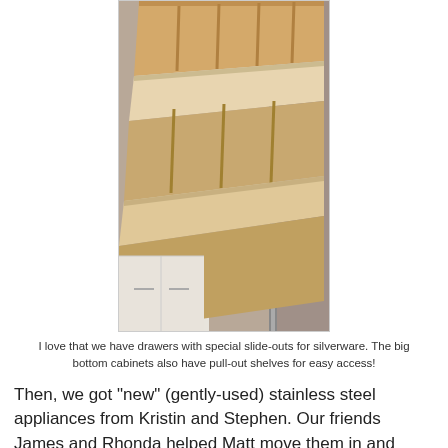[Figure (photo): Close-up photograph of open kitchen drawers showing wooden slide-out organizers for silverware and pull-out shelves, with metal drawer slides visible on the side.]
I love that we have drawers with special slide-outs for silverware. The big bottom cabinets also have pull-out shelves for easy access!
Then, we got "new" (gently-used) stainless steel appliances from Kristin and Stephen. Our friends James and Rhonda helped Matt move them in and helped remove the old stuff...which Matt put on our lawn as freebies and which were gone within hours!